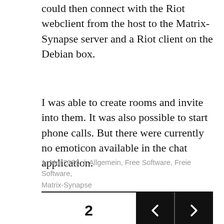could then connect with the Riot webclient from the host to the Matrix-Synapse server and a Riot client on the Debian box.
I was able to create rooms and invite into them. It was also possible to start phone calls. But there were currently no emoticon available in the chat application.
1. Mai 2020 / Allgemein, Free Software, Freie Software, Matrix-Synapse
2